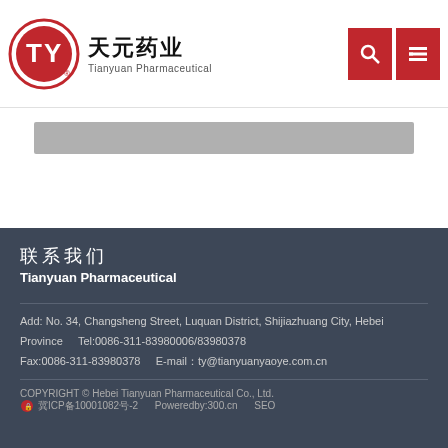[Figure (logo): TY circular logo with Chinese characters 天元药业 and English text Tianyuan Pharmaceutical]
[Figure (screenshot): Search icon button and menu/list icon button, both with dark red background, in top right of header]
[Figure (screenshot): Grey search bar below the header]
联系我们
Tianyuan Pharmaceutical
Add: No. 34, Changsheng Street, Luquan District, Shijiazhuang City, Hebei Province      Tel:0086-311-83980006/83980378
Fax:0086-311-83980378      E-mail：ty@tianyuanyaoye.com.cn
COPYRIGHT © Hebei Tianyuan Pharmaceutical Co., Ltd.
冀ICP备10001082号-2      Poweredby:300.cn      SEO